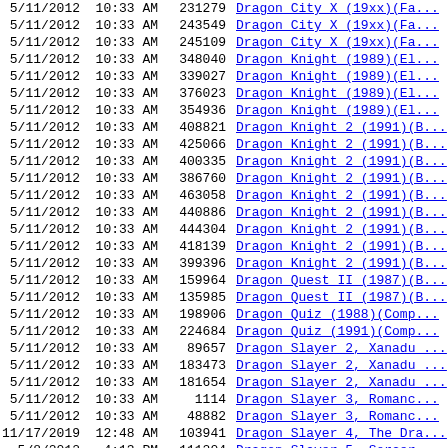| Date/Time | Size | Name |
| --- | --- | --- |
| 5/11/2012  10:33 AM | 231279 | Dragon City X (19xx)(Fa... |
| 5/11/2012  10:33 AM | 243549 | Dragon City X (19xx)(Fa... |
| 5/11/2012  10:33 AM | 245109 | Dragon City X (19xx)(Fa... |
| 5/11/2012  10:33 AM | 348040 | Dragon Knight (1989)(El... |
| 5/11/2012  10:33 AM | 339027 | Dragon Knight (1989)(El... |
| 5/11/2012  10:33 AM | 376023 | Dragon Knight (1989)(El... |
| 5/11/2012  10:33 AM | 354936 | Dragon Knight (1989)(El... |
| 5/11/2012  10:33 AM | 408821 | Dragon Knight 2 (1991)(B... |
| 5/11/2012  10:33 AM | 425066 | Dragon Knight 2 (1991)(B... |
| 5/11/2012  10:33 AM | 400335 | Dragon Knight 2 (1991)(B... |
| 5/11/2012  10:33 AM | 386760 | Dragon Knight 2 (1991)(B... |
| 5/11/2012  10:33 AM | 463058 | Dragon Knight 2 (1991)(B... |
| 5/11/2012  10:33 AM | 440886 | Dragon Knight 2 (1991)(B... |
| 5/11/2012  10:33 AM | 444304 | Dragon Knight 2 (1991)(B... |
| 5/11/2012  10:33 AM | 418139 | Dragon Knight 2 (1991)(B... |
| 5/11/2012  10:33 AM | 399396 | Dragon Knight 2 (1991)(B... |
| 5/11/2012  10:33 AM | 159964 | Dragon Quest II (1987)(B... |
| 5/11/2012  10:33 AM | 135985 | Dragon Quest II (1987)(B... |
| 5/11/2012  10:33 AM | 198906 | Dragon Quiz (1988)(Comp... |
| 5/11/2012  10:33 AM | 224684 | Dragon Quiz (1991)(Comp... |
| 5/11/2012  10:33 AM | 89657 | Dragon Slayer 2, Xanadu ... |
| 5/11/2012  10:33 AM | 183473 | Dragon Slayer 2, Xanadu ... |
| 5/11/2012  10:33 AM | 181654 | Dragon Slayer 2, Xanadu ... |
| 5/11/2012  10:33 AM | 1114 | Dragon Slayer 3, Romanc... |
| 5/11/2012  10:33 AM | 48882 | Dragon Slayer 3, Romanc... |
| 11/17/2019  12:48 AM | 103941 | Dragon Slayer 4, The Dra... |
| 5/8/2012  4:13 PM | 111204 | Dragon Slayer 5, Sorcer... |
| 5/8/2012  4:13 PM | 104256 | Dragon Slayer 5, Sorcer... |
| 5/8/2012  4:13 PM | 97209 | Dragon Slayer 5, Sorcer... |
| 5/8/2012  4:13 PM | 93311 | Dragon Slayer 5, Sorcer... |
| 5/8/2012  4:13 PM | 203948 | Dragon Slayer 6 (1989)(...) |